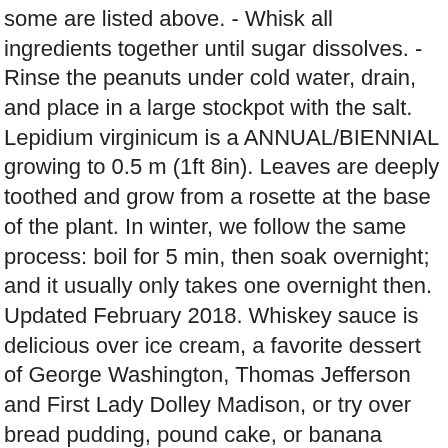some are listed above. - Whisk all ingredients together until sugar dissolves. - Rinse the peanuts under cold water, drain, and place in a large stockpot with the salt. Lepidium virginicum is a ANNUAL/BIENNIAL growing to 0.5 m (1ft 8in). Leaves are deeply toothed and grow from a rosette at the base of the plant. In winter, we follow the same process: boil for 5 min, then soak overnight; and it usually only takes one overnight then. Updated February 2018. Whiskey sauce is delicious over ice cream, a favorite dessert of George Washington, Thomas Jefferson and First Lady Dolley Madison, or try over bread pudding, pound cake, or banana bread. Cook until potatoes are tender, drain the water and cool. This information is for educational purposes only. Virginia pepperweed flowering stalk with leaves. Virginia pepperweed is a weed of agronomic, vegetable, orchard, and nursery crops, and is distributed throughout the United States. - With bitters & sugar cube, add a dash of water. - 2 cups of WHITE flint cornmeal (the more common yellow meal does not work as well). The Virginia Pepperweed